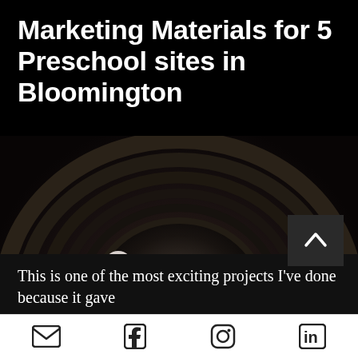Marketing Materials for 5 Preschool sites in Bloomington
[Figure (photo): Two young children smiling inside a circular tunnel on a playground. The child on the left wears a pink knit hat and light shirt; the child on the right wears a striped shirt. Dark, dramatic lighting with circular tunnel rings visible in background.]
This is one of the most exciting projects I've done because it gave
Email | Facebook | Instagram | LinkedIn